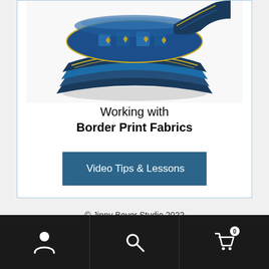[Figure (photo): Rolled/stacked border print fabric with blue, gold, and green geometric patterns visible at the top of a product card]
Working with Border Print Fabrics
Video Tips & Lessons
© Jinny Beyer Studio 2022
Privacy Policy & Terms   Contact Information